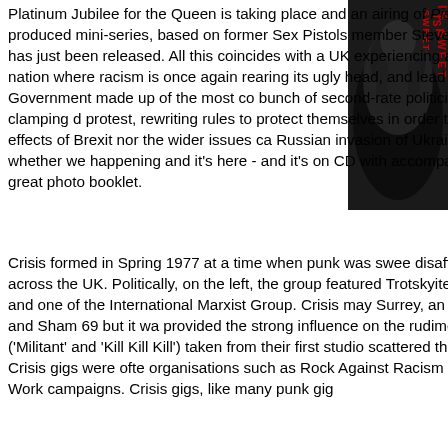[Figure (photo): Dark album cover image with red text reading 'IS SWEET' vertically on the right side, showing a shadowy figure]
Platinum Jubilee for the Queen is taking place and an airing of Pistol, the Danny Boyle Disney produced mini-series, based on former Sex Pistols member Steve Jones' memoir Lonely Boy has just been released. All this coincides with a UK experiencing a cost of living crisis in a nation where racism is once again rearing its ugly head, and lead by a Conservative Government made up of the most co bunch of second-rate politicians who are actively clamping d protest, rewriting rules to protect themselves in order to main not even mention the effects of Brexit nor the wider issues ca Russian invasion of Ukraine. It's a shitshow. So whether we happening and it's here - and it's on CD with accompanying gatefold sleeve with a great photo booklet.
Crisis formed in Spring 1977 at a time when punk was swee disaffected, disenfranchised youth across the UK. Politically, on the left, the group featured Trotskyite members one of the Party and one of the International Marxist Group. Crisis may Surrey, an area that gave us The Jam and Sham 69 but it wa provided the strong influence on the rudimentary directness tracks ('Militant' and 'Kill Kill Kill') taken from their first studio scattered throughout this retrospective. Crisis gigs were ofte organisations such as Rock Against Racism and Anti-Nazi L of Right To Work campaigns. Crisis gigs, like many punk gig